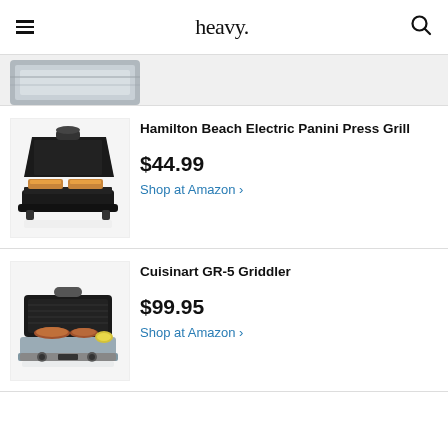heavy.
[Figure (photo): Partial view of a stainless steel kitchen appliance (panini press or grill) visible at the top of the page]
Hamilton Beach Electric Panini Press Grill
$44.99
Shop at Amazon >
Cuisinart GR-5 Griddler
$99.95
Shop at Amazon >